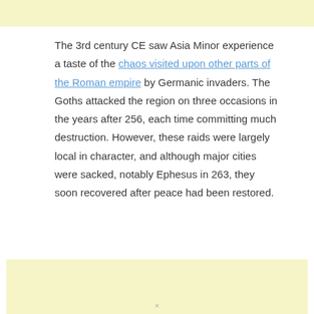[Figure (other): Light yellow advertisement banner at the top of the page]
The 3rd century CE saw Asia Minor experience a taste of the chaos visited upon other parts of the Roman empire by Germanic invaders. The Goths attacked the region on three occasions in the years after 256, each time committing much destruction. However, these raids were largely local in character, and although major cities were sacked, notably Ephesus in 263, they soon recovered after peace had been restored.
[Figure (other): Light yellow advertisement banner in the lower portion of the page]
×